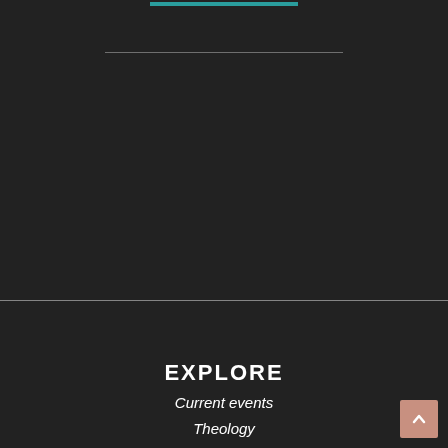[Figure (screenshot): Dark background upper section of a webpage with a teal horizontal bar at the top and a thin white horizontal divider line below it]
EXPLORE
Current events
Theology